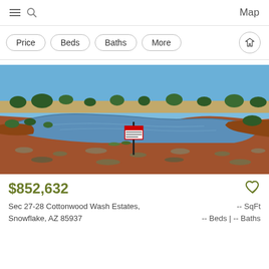Map
Price
Beds
Baths
More
[Figure (photo): Outdoor photo of a pond or water retention area with red earth banks, sparse desert grasses, juniper trees along the horizon, a blue sky, and a small warning sign on a post in the foreground.]
$852,632
Sec 27-28 Cottonwood Wash Estates, Snowflake, AZ 85937
-- SqFt
-- Beds | -- Baths